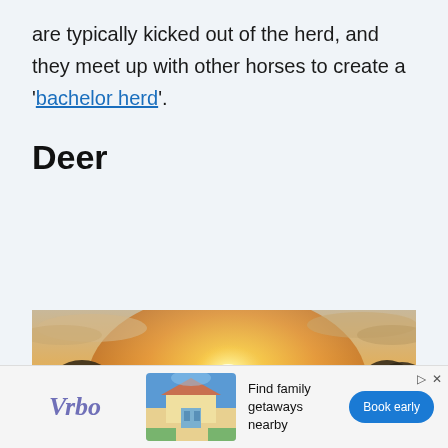are typically kicked out of the herd, and they meet up with other horses to create a 'bachelor herd'.
Deer
[Figure (photo): Photograph of deer silhouetted against a golden misty sunrise, with trees in the background and deer with antlers visible in the foreground.]
[Figure (other): Advertisement banner for Vrbo showing logo, vacation house image, text 'Find family getaways nearby', and a 'Book early' button.]